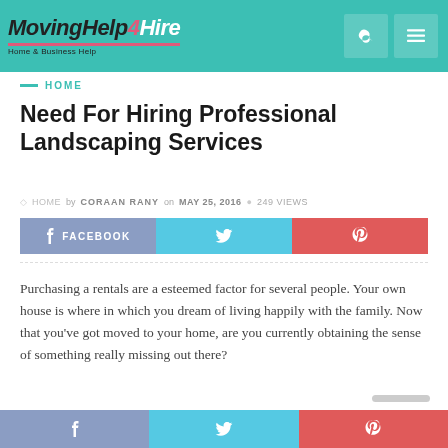MovingHelp4Hire — Home & Business Help
HOME
Need For Hiring Professional Landscaping Services
HOME by CORAAN RANY on MAY 25, 2016 • 249 VIEWS
FACEBOOK  [twitter]  [pinterest]
Purchasing a rentals are a esteemed factor for several people. Your own house is where in which you dream of living happily with the family. Now that you've got moved to your home, are you currently obtaining the sense of something really missing out there?